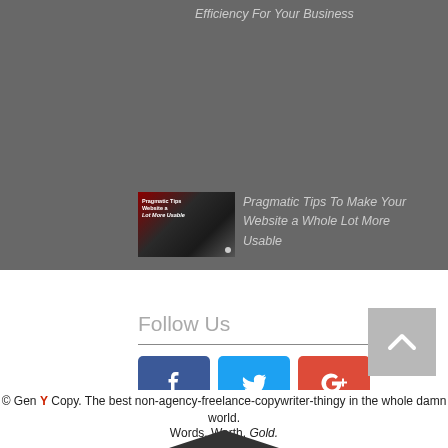Efficiency For Your Business
[Figure (photo): Thumbnail image for article about website usability]
Pragmatic Tips To Make Your Website a Whole Lot More Usable
Follow Us
[Figure (infographic): Social media icons: Facebook (blue), Twitter (light blue), Google+ (red)]
[Figure (other): Back to top button with upward chevron arrow]
© Gen Y Copy. The best non-agency-freelance-copywriter-thingy in the whole damn world.
Words. Worth. Gold.